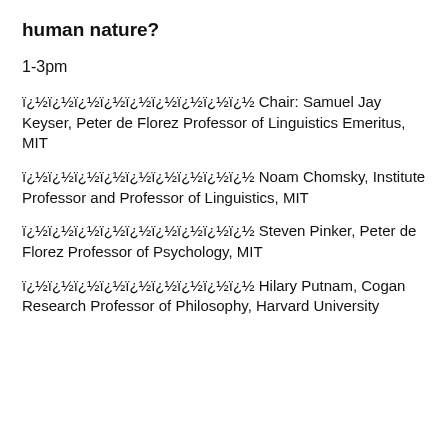human nature?
1-3pm
ï¿½ï¿½ï¿½ï¿½ï¿½ï¿½ï¿½ï¿½ï¿½ Chair: Samuel Jay Keyser, Peter de Florez Professor of Linguistics Emeritus, MIT
ï¿½ï¿½ï¿½ï¿½ï¿½ï¿½ï¿½ï¿½ï¿½ Noam Chomsky, Institute Professor and Professor of Linguistics, MIT
ï¿½ï¿½ï¿½ï¿½ï¿½ï¿½ï¿½ï¿½ï¿½ Steven Pinker, Peter de Florez Professor of Psychology, MIT
ï¿½ï¿½ï¿½ï¿½ï¿½ï¿½ï¿½ï¿½ï¿½ Hilary Putnam, Cogan Research Professor of Philosophy, Harvard University